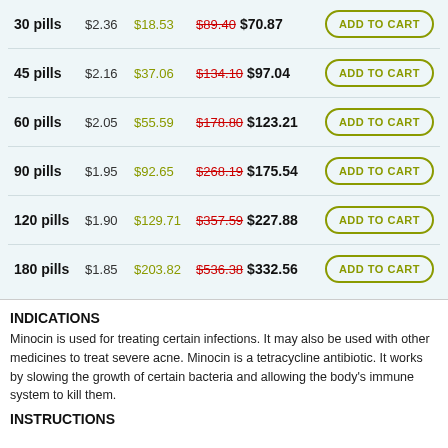| Pills | Per Pill | Savings | Price | Action |
| --- | --- | --- | --- | --- |
| 30 pills | $2.36 | $18.53 | $89.40 $70.87 | ADD TO CART |
| 45 pills | $2.16 | $37.06 | $134.10 $97.04 | ADD TO CART |
| 60 pills | $2.05 | $55.59 | $178.80 $123.21 | ADD TO CART |
| 90 pills | $1.95 | $92.65 | $268.19 $175.54 | ADD TO CART |
| 120 pills | $1.90 | $129.71 | $357.59 $227.88 | ADD TO CART |
| 180 pills | $1.85 | $203.82 | $536.38 $332.56 | ADD TO CART |
INDICATIONS
Minocin is used for treating certain infections. It may also be used with other medicines to treat severe acne. Minocin is a tetracycline antibiotic. It works by slowing the growth of certain bacteria and allowing the body's immune system to kill them.
INSTRUCTIONS